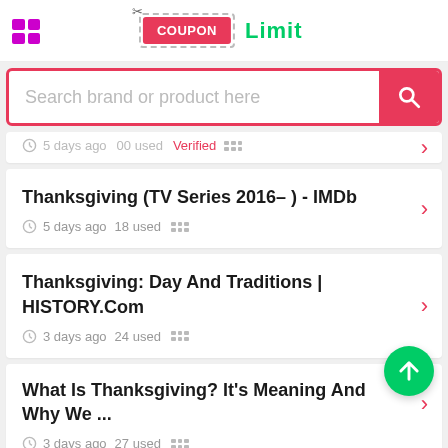[Figure (screenshot): App header with grid icon, COUPON button with dashed border and scissors icon, and green 'Limit' text]
[Figure (screenshot): Search bar with placeholder text 'Search brand or product here' and red search button]
5 days ago  00 used  (partial, cut off at top)
Thanksgiving (TV Series 2016– ) - IMDb
5 days ago  18 used
Thanksgiving: Day And Traditions | HISTORY.Com
3 days ago  24 used
What Is Thanksgiving? It's Meaning And Why We ...
3 days ago  27 used